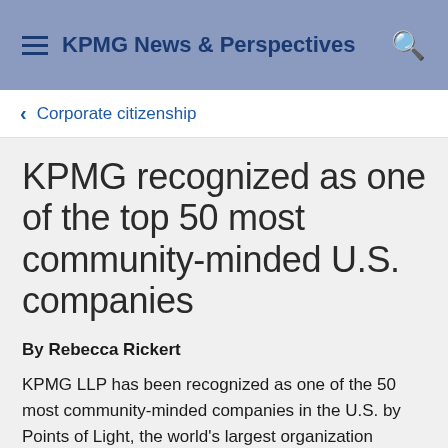KPMG News & Perspectives
Corporate citizenship
KPMG recognized as one of the top 50 most community-minded U.S. companies
By Rebecca Rickert
KPMG LLP has been recognized as one of the 50 most community-minded companies in the U.S. by Points of Light, the world's largest organization dedicated to volunteer service. The Civic 50 honorees are public and private companies with U.S. operations and revenues of $1 billion or more, and are selected